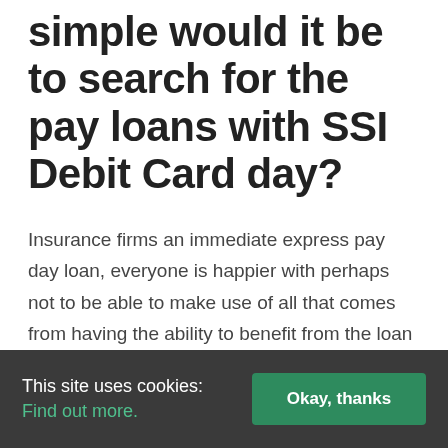simple would it be to search for the pay loans with SSI Debit Card day?
Insurance firms an immediate express pay day loan, everyone is happier with perhaps not to be able to make use of all that comes from having the ability to benefit from the loan and life once you understand they own use of cash once they want it so that they donвЂ™t need to concern yourself. Waiting on money could be tough nonetheless with taking a direct debit that is express payday advances which
This site uses cookies: Find out more. Okay, thanks